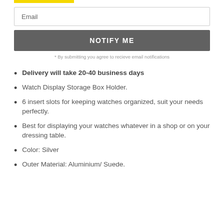[Figure (other): Yellow highlight bar at top left]
Email
NOTIFY ME
* By submitting you agree to recieve email notifications
Delivery will take 20-40 business days
Watch Display Storage Box Holder.
6 insert slots for keeping watches organized, suit your needs perfectly.
Best for displaying your watches whatever in a shop or on your dressing table.
Color: Silver
Outer Material: Aluminium/ Suede.